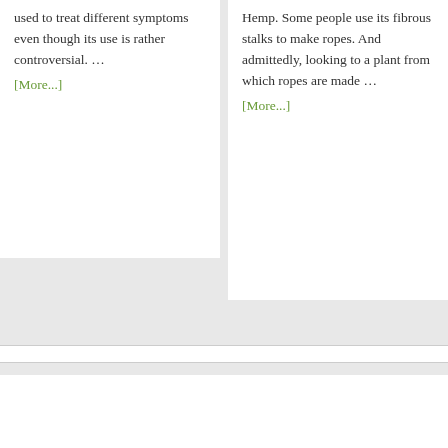used to treat different symptoms even though its use is rather controversial. …
[More...]
Hemp. Some people use its fibrous stalks to make ropes. And admittedly, looking to a plant from which ropes are made …
[More...]
[Figure (photo): A dark/black rectangular image placeholder at the bottom of the page]